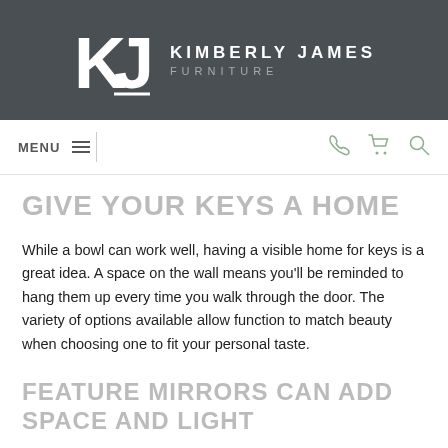[Figure (logo): Kimberly James Furniture logo — KJ monogram in white on dark grey background with brand name text]
MENU  ☎ 🛒 🔍
GIVE YOUR KEYS A HOME
While a bowl can work well, having a visible home for keys is a great idea. A space on the wall means you'll be reminded to hang them up every time you walk through the door. The variety of options available allow function to match beauty when choosing one to fit your personal taste.
FEATURE MIRRORS CAN ADD SPACE AND LIGHT